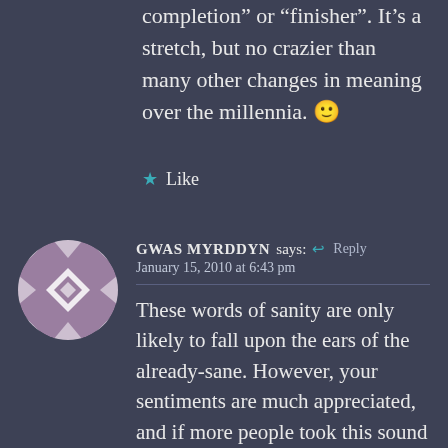completion” or “finisher”. It’s a stretch, but no crazier than many other changes in meaning over the millennia. 🙂
★ Like
GWAS MYRDDYN says: Reply
January 15, 2010 at 6:43 pm
These words of sanity are only likely to fall upon the ears of the already-sane. However, your sentiments are much appreciated, and if more people took this sound advice on board